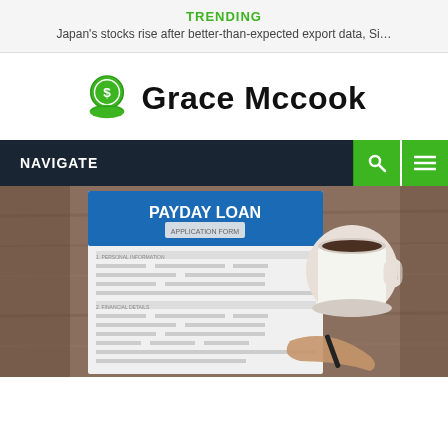TRENDING
Japan's stocks rise after better-than-expected export data, Si…
[Figure (logo): Grace Mccook logo with green dollar coin and hand icon]
NAVIGATE
[Figure (photo): Payday loan application form on a wooden table next to a coffee cup, with a hand holding a pen]